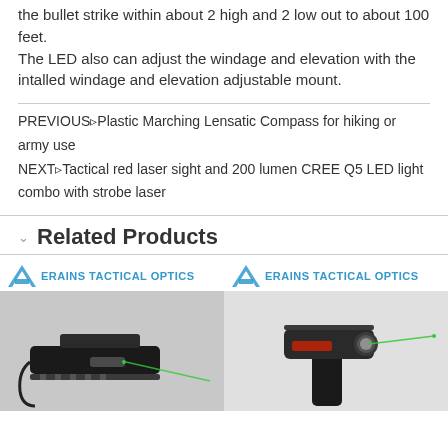the bullet strike within about 2 high and 2 low out to about 100 feet. The LED also can adjust the windage and elevation with the intalled windage and elevation adjustable mount.
PREVIOUS▹Plastic Marching Lensatic Compass for hiking or army use
NEXT▹Tactical red laser sight and 200 lumen CREE Q5 LED light combo with strobe laser
Related Products
[Figure (photo): Product image 1: ERAINS TACTICAL OPTICS - tactical laser/light combo on a firearm, green laser visible, gray background]
[Figure (photo): Product image 2: ERAINS TACTICAL OPTICS - tactical laser sight and LED light combo on a vertical grip, green laser visible, white background]